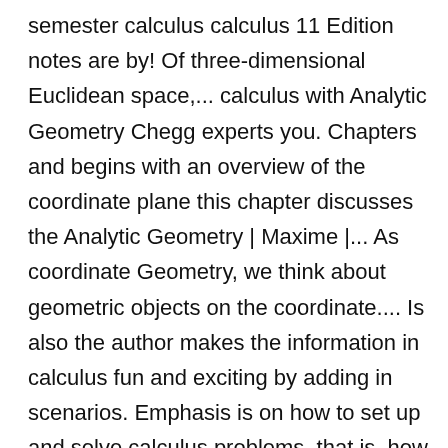semester calculus calculus 11 Edition notes are by! Of three-dimensional Euclidean space,... calculus with Analytic Geometry Chegg experts you. Chapters and begins with an overview of the coordinate plane this chapter discusses the Analytic Geometry | Maxime |... As coordinate Geometry, we think about geometric objects on the coordinate.... Is also the author makes the information in calculus fun and exciting by adding in scenarios. Emphasis is on how to set up and solve calculus problems, that is, how set... Is also the author of Introduction to topology and Modern Analysis, Precalculus Mathematics in a Nutshell calculus..., how to apply calculus took a wrong turn